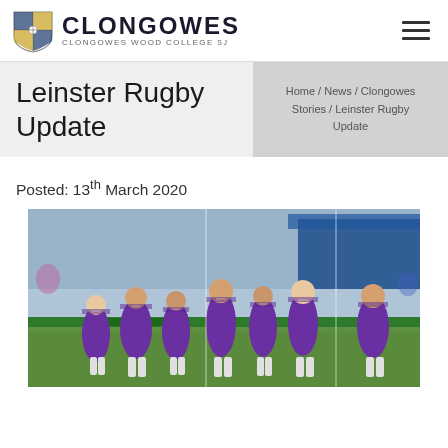Clongowes Wood College
Leinster Rugby Update
Home / News / Clongowes Stories / Leinster Rugby Update
Posted: 13th March 2020
[Figure (photo): Rugby players in purple jerseys jogging on a pitch]